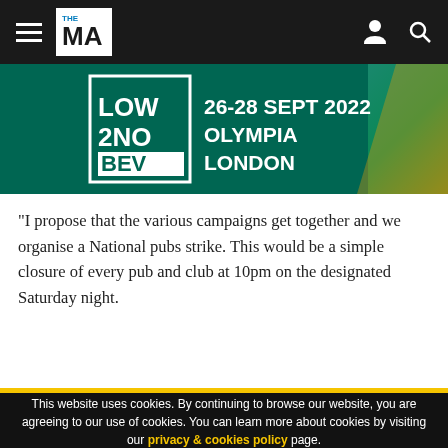THE MA — navigation bar with hamburger menu, logo, user icon, and search icon
[Figure (illustration): Low2No Bev event banner: teal/green background with 'LOW 2 NO' and 'BEV' logo with white border box, event details '26-28 SEPT 2022 OLYMPIA LONDON' in white text]
"I propose that the various campaigns get together and we organise a National pubs strike. This would be a simple closure of every pub and club at 10pm on the designated Saturday night.
This website uses cookies. By continuing to browse our website, you are agreeing to our use of cookies. You can learn more about cookies by visiting our privacy & cookies policy page.
I Agree